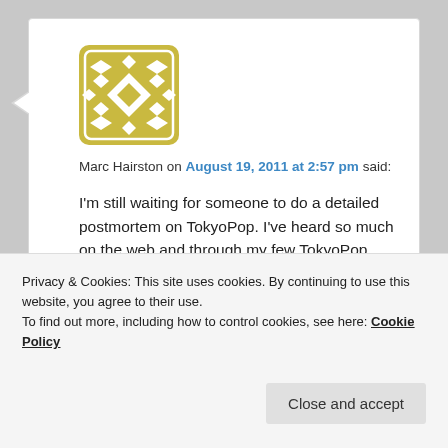[Figure (logo): Gold decorative avatar icon with diamond/quilt pattern on white rounded square background]
Marc Hairston on August 19, 2011 at 2:57 pm said:
I'm still waiting for someone to do a detailed postmortem on TokyoPop. I've heard so much on the web and through my few TokyoPop contacts about their crazy decisions and business practices that I'm surprised they lasted as long as they did. I'd love to know what really happened. Jonathan, you want to write that story? ^_^
Privacy & Cookies: This site uses cookies. By continuing to use this website, you agree to their use.
To find out more, including how to control cookies, see here: Cookie Policy
Close and accept